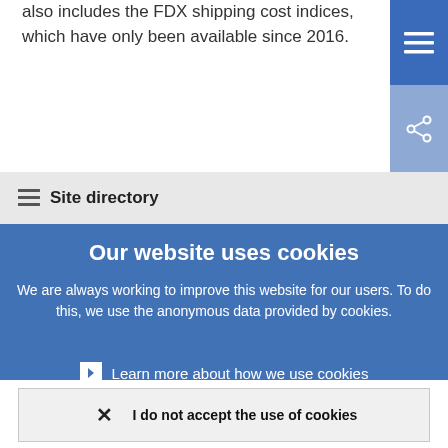also includes the FDX shipping cost indices, which have only been available since 2016.
Site directory
Our website uses cookies
We are always working to improve this website for our users. To do this, we use the anonymous data provided by cookies.
Learn more about how we use cookies
I understand and I accept the use of cookies
I do not accept the use of cookies